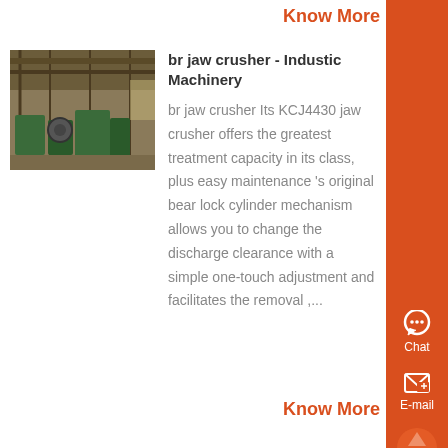Know More
[Figure (photo): Industrial machinery/jaw crusher equipment inside a workshop building with wooden structure and various machines visible]
br jaw crusher - Industic Machinery
br jaw crusher Its KCJ4430 jaw crusher offers the greatest treatment capacity in its class, plus easy maintenance 's original bear lock cylinder mechanism allows you to change the discharge clearance with a simple one-touch adjustment and facilitates the removal ,...
Know More